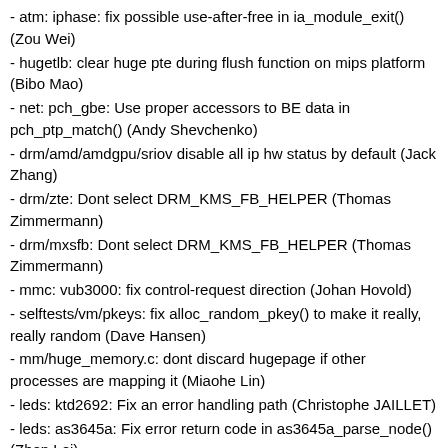- atm: iphase: fix possible use-after-free in ia_module_exit() (Zou Wei)
- hugetlb: clear huge pte during flush function on mips platform (Bibo Mao)
- net: pch_gbe: Use proper accessors to BE data in pch_ptp_match() (Andy Shevchenko)
- drm/amd/amdgpu/sriov disable all ip hw status by default (Jack Zhang)
- drm/zte: Dont select DRM_KMS_FB_HELPER (Thomas Zimmermann)
- drm/mxsfb: Dont select DRM_KMS_FB_HELPER (Thomas Zimmermann)
- mmc: vub3000: fix control-request direction (Johan Hovold)
- selftests/vm/pkeys: fix alloc_random_pkey() to make it really, really random (Dave Hansen)
- mm/huge_memory.c: dont discard hugepage if other processes are mapping it (Miaohe Lin)
- leds: ktd2692: Fix an error handling path (Christophe JAILLET)
- leds: as3645a: Fix error return code in as3645a_parse_node() (Zhen Lei)
- configfs: fix memleak in configfs_release_bin_file (Chung-Chiang Cheng)
- extcon: max8997: Add missing modalias string (Marek Szyprowski)
- extcon: sm5502: Drop invalid register write in sm5502_reg_data (Stephan Gerhold)
- phy: ti: dm816x: Fix the error handling path in dm816x_usb_phy_probe() (Christophe JAILLET)
- scsi: mpt3sas: Fix error return value in _scsih_expander_add() (Zhen